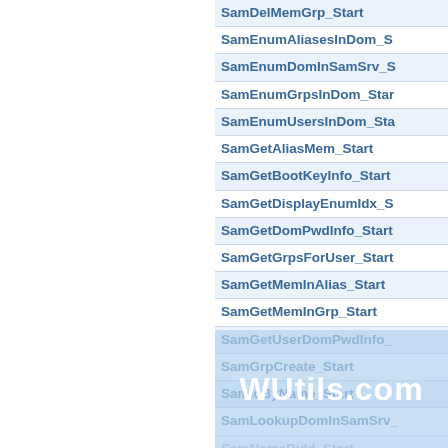SamDelMemGrp_Start
SamEnumAliasesInDom_S
SamEnumDomInSamSrv_S
SamEnumGrpsInDom_Star
SamEnumUsersInDom_Sta
SamGetAliasMem_Start
SamGetBootKeyInfo_Start
SamGetDisplayEnumIdx_S
SamGetDomPwdInfo_Start
SamGetGrpsForUser_Start
SamGetMemInAlias_Start
SamGetMemInGrp_Start
SamGetUserDomPwdInfo_
SamGrpCreate_Start
SamIdByName_Start
SamLookupDomInSamSrv_
SamNameById_Start
Sa...
SamOpenDomain_Start